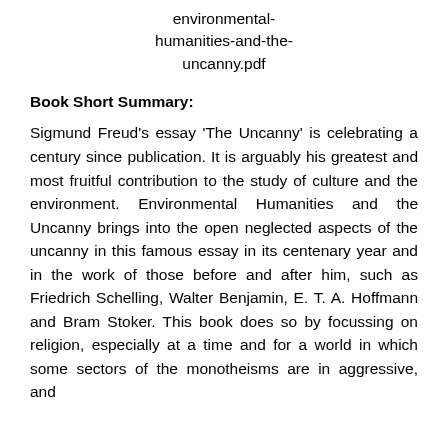environmental-humanities-and-the-uncanny.pdf
Book Short Summary:
Sigmund Freud's essay 'The Uncanny' is celebrating a century since publication. It is arguably his greatest and most fruitful contribution to the study of culture and the environment. Environmental Humanities and the Uncanny brings into the open neglected aspects of the uncanny in this famous essay in its centenary year and in the work of those before and after him, such as Friedrich Schelling, Walter Benjamin, E. T. A. Hoffmann and Bram Stoker. This book does so by focussing on religion, especially at a time and for a world in which some sectors of the monotheisms are in aggressive, and